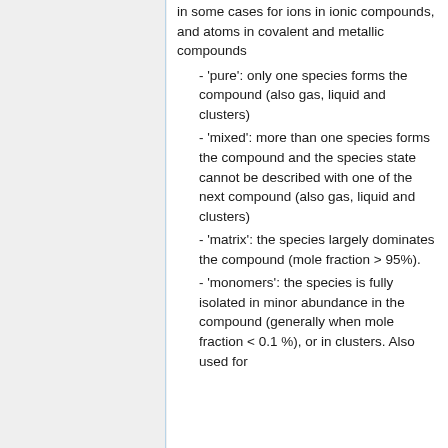in some cases for ions in ionic compounds, and atoms in covalent and metallic compounds
- 'pure': only one species forms the compound (also gas, liquid and clusters)
- 'mixed': more than one species forms the compound and the species state cannot be described with one of the next compound (also gas, liquid and clusters)
- 'matrix': the species largely dominates the compound (mole fraction > 95%).
- 'monomers': the species is fully isolated in minor abundance in the compound (generally when mole fraction < 0.1 %), or in clusters. Also used for